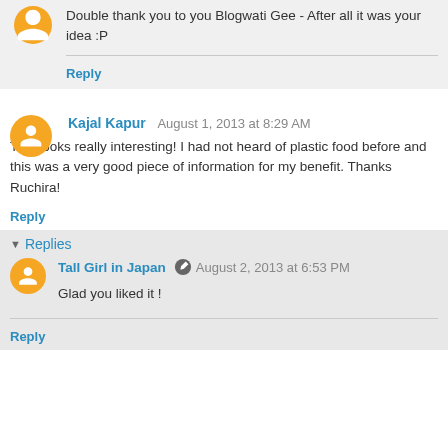Double thank you to you Blogwati Gee - After all it was your idea :P
Reply
Kajal Kapur  August 1, 2013 at 8:29 AM
This looks really interesting! I had not heard of plastic food before and this was a very good piece of information for my benefit. Thanks Ruchira!
Reply
Replies
Tall Girl in Japan  August 2, 2013 at 6:53 PM
Glad you liked it !
Reply